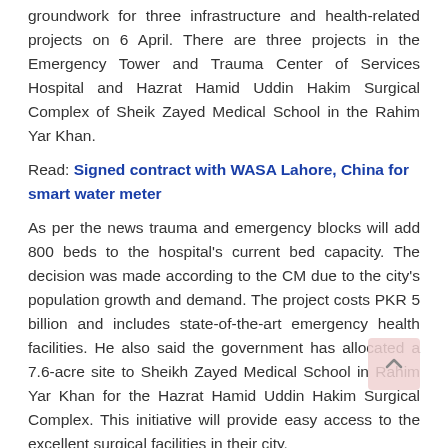groundwork for three infrastructure and health-related projects on 6 April. There are three projects in the Emergency Tower and Trauma Center of Services Hospital and Hazrat Hamid Uddin Hakim Surgical Complex of Sheik Zayed Medical School in the Rahim Yar Khan.
Read: Signed contract with WASA Lahore, China for smart water meter
As per the news trauma and emergency blocks will add 800 beds to the hospital's current bed capacity. The decision was made according to the CM due to the city's population growth and demand. The project costs PKR 5 billion and includes state-of-the-art emergency health facilities. He also said the government has allocated a 7.6-acre site to Sheikh Zayed Medical School in Rahim Yar Khan for the Hazrat Hamid Uddin Hakim Surgical Complex. This initiative will provide easy access to the excellent surgical facilities in their city.
Read: Physical Housing Plan Projects Approved by Punjab